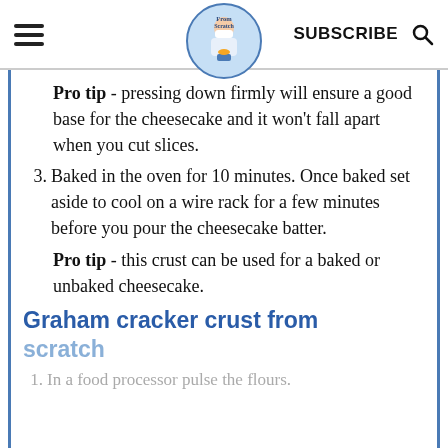From Scratch - SUBSCRIBE
Pro tip - pressing down firmly will ensure a good base for the cheesecake and it won't fall apart when you cut slices.
3. Baked in the oven for 10 minutes. Once baked set aside to cool on a wire rack for a few minutes before you pour the cheesecake batter.
Pro tip - this crust can be used for a baked or unbaked cheesecake.
Graham cracker crust from scratch
1. In a food processor pulse the flours.